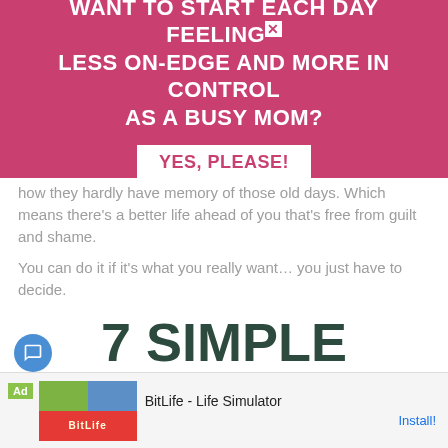WANT TO START EACH DAY FEELING× LESS ON-EDGE AND MORE IN CONTROL AS A BUSY MOM?
YES, PLEASE!
how they hardly have memory of those old days. Which means there's a better life ahead of you that's free from guilt and shame.
You can do it if it's what you really want… you just have to decide.
7 SIMPLE THINGS THAT ACTUALLY
[Figure (screenshot): BitLife - Life Simulator ad banner with app icon and Install button]